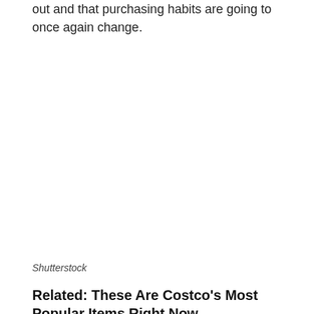out and that purchasing habits are going to once again change.
Shutterstock
Related: These Are Costco's Most Popular Items Right Now